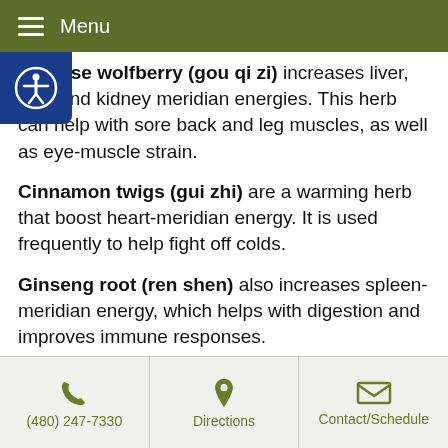Menu
Chinese wolfberry (gou qi zi) increases liver, lung and kidney meridian energies. This herb can help with sore back and leg muscles, as well as eye-muscle strain.
Cinnamon twigs (gui zhi) are a warming herb that boost heart-meridian energy. It is used frequently to help fight off colds.
Ginseng root (ren shen) also increases spleen-meridian energy, which helps with digestion and improves immune responses.
Mugwort leaves (ai ye) are another warming herb that targets the spleen, liver and kidney energetic meridians. Acupuncturists use ai ye to stop pain and disperse cold that is attacking the body. This herb.
(480) 247-7330 | Directions | Contact/Schedule